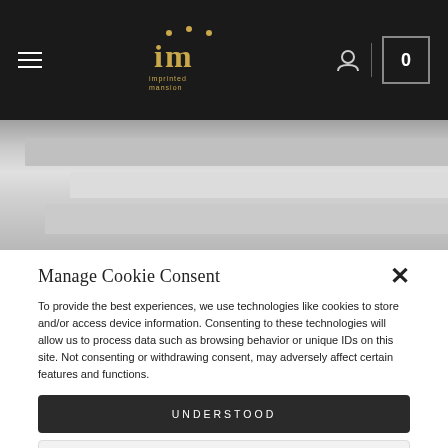[Figure (screenshot): Website header with dark background, hamburger menu icon on left, 'im' logo with gold text in center, user icon and cart box with '0' on right]
[Figure (photo): Stack of books or flat surfaces in gray tones, partial view]
Manage Cookie Consent
To provide the best experiences, we use technologies like cookies to store and/or access device information. Consenting to these technologies will allow us to process data such as browsing behavior or unique IDs on this site. Not consenting or withdrawing consent, may adversely affect certain features and functions.
UNDERSTOOD
VIEW PREFERENCES
Cookie Policy   Privacy Policy